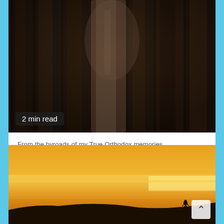[Figure (photo): Dark blurry photograph of hanging cassocks or dark robes, with '2 min read' badge overlay in bottom-left corner]
From the byroads of my True Orthodox memories  To Ponder
Ode to the Cassock that I Love
3 months ago  trueorthodox
[Figure (photo): Sunset landscape photo with golden/amber sky, silhouette of a person running on a hillside in bottom-right area, with a scroll-to-top chevron button overlay]